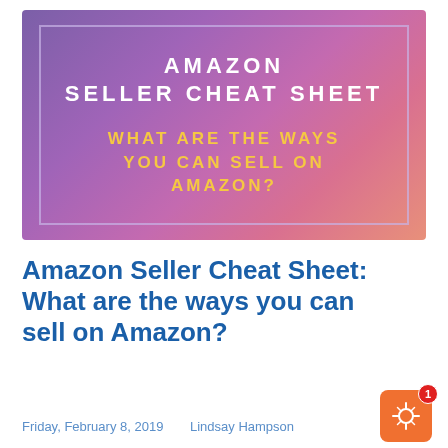[Figure (illustration): Banner image with purple/pink gradient background showing 'AMAZON SELLER CHEAT SHEET' in white bold letters and 'WHAT ARE THE WAYS YOU CAN SELL ON AMAZON?' in yellow/gold bold letters, framed by a light purple border rectangle.]
Amazon Seller Cheat Sheet: What are the ways you can sell on Amazon?
Friday, February 8, 2019
Lindsay Hampson